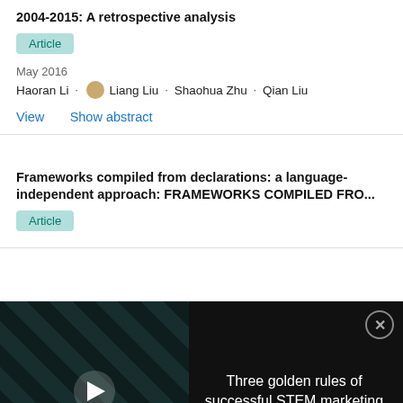2004-2015: A retrospective analysis
Article
May 2016
Haoran Li · Liang Liu · Shaohua Zhu · Qian Liu
View   Show abstract
Frameworks compiled from declarations: a language-independent approach: FRAMEWORKS COMPILED FRO...
Article
[Figure (screenshot): Video overlay showing 'Three golden rules of successful STEM marketing' with play button and close button]
A taxonomy and Qualitative Comparison of Program Analysis Techniques for Security Assessment of Android...
Article
Oct 2016 · IEEE T SOFTWARE ENG
Alireza Sadeghi · Hamid Bagheri · Joshua Garcia ·